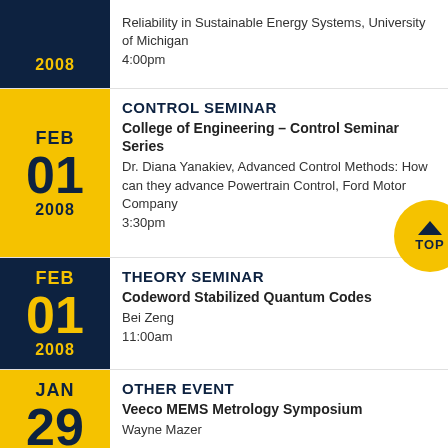2008 | Reliability in Sustainable Energy Systems, University of Michigan 4:00pm
CONTROL SEMINAR | FEB 01 2008 | College of Engineering – Control Seminar Series | Dr. Diana Yanakiev, Advanced Control Methods: How can they advance Powertrain Control, Ford Motor Company | 3:30pm
THEORY SEMINAR | FEB 01 2008 | Codeword Stabilized Quantum Codes | Bei Zeng | 11:00am
OTHER EVENT | JAN 29 | Veeco MEMS Metrology Symposium | Wayne Mazer